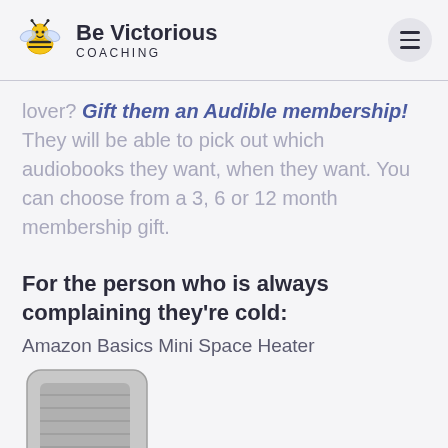Be Victorious COACHING
lover? Gift them an Audible membership! They will be able to pick out which audiobooks they want, when they want. You can choose from a 3, 6 or 12 month membership gift.
For the person who is always complaining they're cold:
Amazon Basics Mini Space Heater
[Figure (photo): Partial image of an Amazon Basics Mini Space Heater, a small grey cube-shaped device]